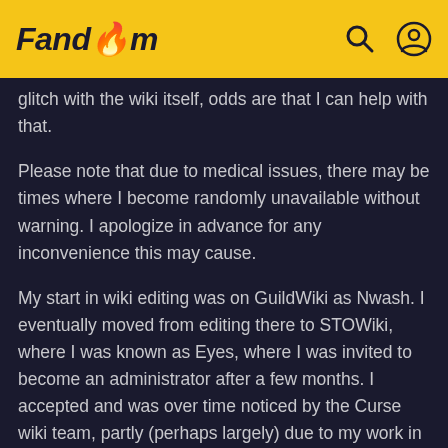Fandom
glitch with the wiki itself, odds are that I can help with that.
Please note that due to medical issues, there may be times where I become randomly unavailable without warning. I apologize in advance for any inconvenience this may cause.
My start in wiki editing was on GuildWiki as Nwash. I eventually moved from editing there to STOWiki, where I was known as Eyes, where I was invited to become an administrator after a few months. I accepted and was over time noticed by the Curse wiki team, partly (perhaps largely) due to my work in redesigning the skin to one based on Vector. That led to me becoming a wiki manager